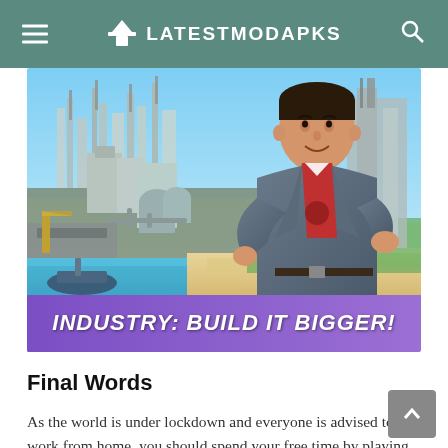LATESTMODAPKS
[Figure (screenshot): Industry: Build It Bigger! game screenshot showing an industrial city with cranes, factories, and coastline, with an animated character in a grey suit in the foreground. A purple banner at the bottom reads 'INDUSTRY: BUILD IT BIGGER!']
Final Words
As the world is under lockdown and everyone is advised to work from home, you should spend your free time by playing such easy games. The Little Big